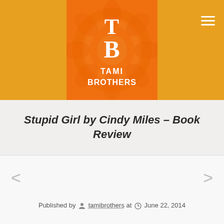[Figure (logo): Tami Brothers blog logo: orange square with decorative floral pattern, large white 'TB' letters and 'TAMI BROTHERS' text, on a golden/amber background banner]
Stupid Girl by Cindy Miles – Book Review
Published by tamibrothers at June 22, 2014